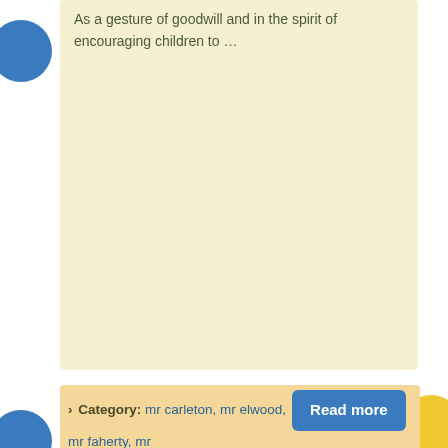As a gesture of goodwill and in the spirit of encouraging children to …
› Category: mr carleton, mr elwood, mr faherty, mr haran, mr lane, mr lawless, Mr. Lawless, ms b. fitzgerald, ms bohan, ms c. fitzgerald, ms coade, ms connolly, ms crotty, ms cunningham, ms dunne, ms f. kavanagh, ms farrell, ms ferguson, ms flannery, ms gillen, ms groarke, ms halliday, ms joyce, ms kyne, ms lally, ms lally ms mccaul, ms lane, ms lavery, ms